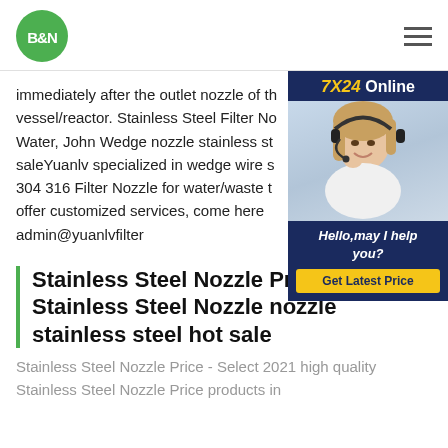B&N logo and navigation hamburger menu
immediately after the outlet nozzle of the vessel/reactor. Stainless Steel Filter Nozzle for Water, John Wedge nozzle stainless steel for sale Yuanlv specialized in wedge wire screen, 304 316 Filter Nozzle for water/waste treatment, offer customized services, come here admin@yuanlvfilter
[Figure (photo): 7X24 Online chat widget with a woman wearing a headset, navy blue background, text 'Hello, may I help you?' and a yellow 'Get Latest Price' button]
Stainless Steel Nozzle Price, 2021 Stainless Steel Nozzle nozzle stainless steel hot sale
Stainless Steel Nozzle Price - Select 2021 high quality Stainless Steel Nozzle Price products in